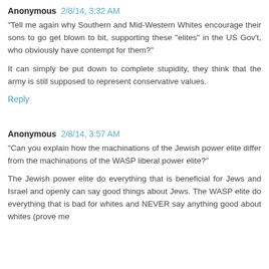Anonymous 2/8/14, 3:32 AM
"Tell me again why Southern and Mid-Western Whites encourage their sons to go get blown to bit, supporting these "elites" in the US Gov't, who obviously have contempt for them?"
It can simply be put down to complete stupidity, they think that the army is still supposed to represent conservative values.
Reply
Anonymous 2/8/14, 3:57 AM
"Can you explain how the machinations of the Jewish power elite differ from the machinations of the WASP liberal power elite?"
The Jewish power elite do everything that is beneficial for Jews and Israel and openly can say good things about Jews. The WASP elite do everything that is bad for whites and NEVER say anything good about whites (prove me